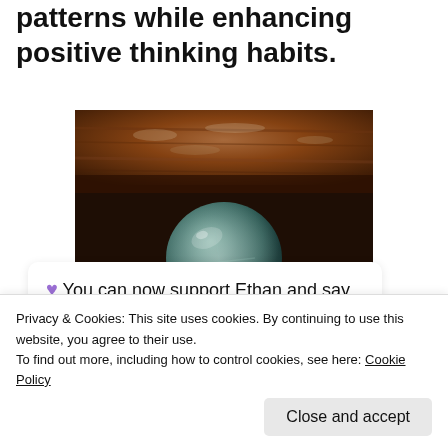patterns while enhancing positive thinking habits.
[Figure (photo): Close-up photo of a dark teal/green polished stone sphere resting on a wooden surface with visible wood grain texture]
♥ You can now support Ethan and say thank you with buy me
Privacy & Cookies: This site uses cookies. By continuing to use this website, you agree to their use.
To find out more, including how to control cookies, see here: Cookie Policy
Close and accept